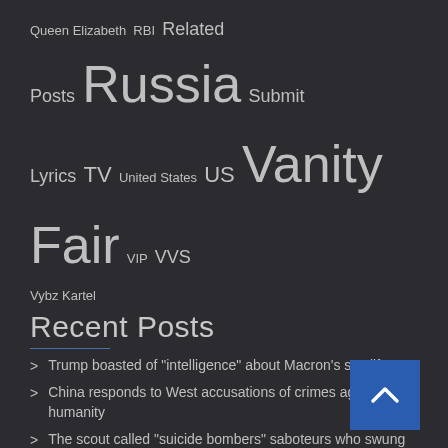Queen Elizabeth  RBI  Related Posts  Russia  Submit  Lyrics  TV  United States  US  Vanity Fair  VIP  VVS  Vybz Kartel
Recent Posts
Trump boasted of "intelligence" about Macron's sex life
China responds to West accusations of crimes against humanity
The scout called "suicide bombers" saboteurs who swung at the Zaporozhye nuclear power plant
Recent Comments